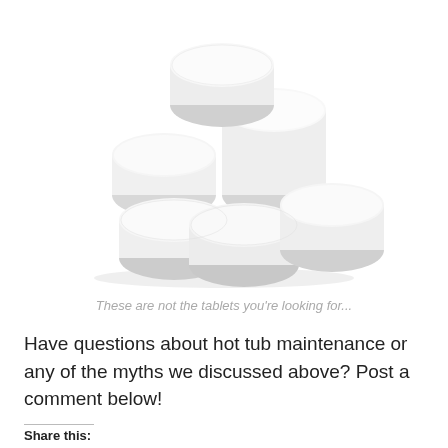[Figure (photo): A cluster of white cylindrical tablets/pills stacked together on a white background]
These are not the tablets you're looking for...
Have questions about hot tub maintenance or any of the myths we discussed above? Post a comment below!
Share this: